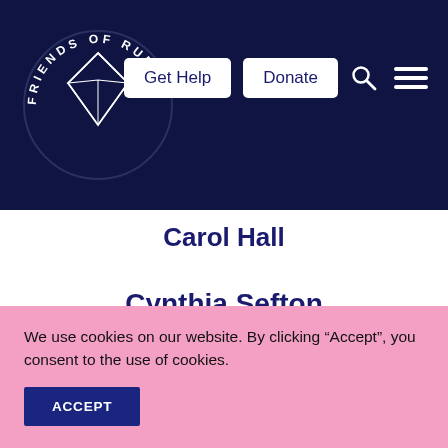Friends of Ruby — Navigation bar with Get Help, Donate buttons, search and menu icons
Carol Hall
Cynthia Sefton
Deborra-Lee Jackman
We use cookies on our website. By clicking “Accept”, you consent to the use of cookies.